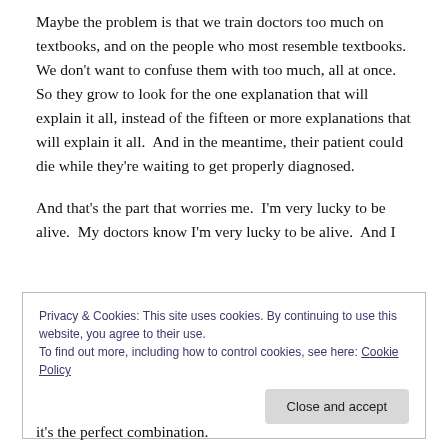Maybe the problem is that we train doctors too much on textbooks, and on the people who most resemble textbooks.  We don't want to confuse them with too much, all at once.  So they grow to look for the one explanation that will explain it all, instead of the fifteen or more explanations that will explain it all.  And in the meantime, their patient could die while they're waiting to get properly diagnosed.
And that's the part that worries me.  I'm very lucky to be alive.  My doctors know I'm very lucky to be alive.  And I
Privacy & Cookies: This site uses cookies. By continuing to use this website, you agree to their use.
To find out more, including how to control cookies, see here: Cookie Policy
it's the perfect combination.